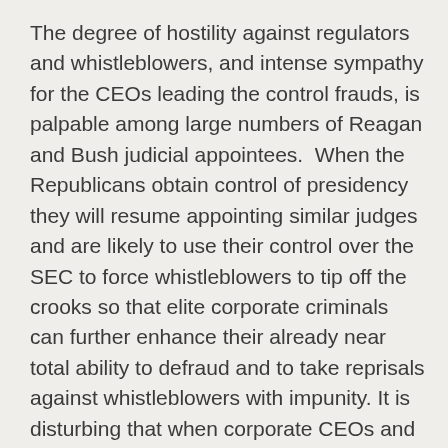The degree of hostility against regulators and whistleblowers, and intense sympathy for the CEOs leading the control frauds, is palpable among large numbers of Reagan and Bush judicial appointees.  When the Republicans obtain control of presidency they will resume appointing similar judges and are likely to use their control over the SEC to force whistleblowers to tip off the crooks so that elite corporate criminals can further enhance their already near total ability to defraud and to take reprisals against whistleblowers with impunity. It is disturbing that when corporate CEOs and these SEC board members revealed their desire to help fraudulent CEOs escape prosecution and retaliate against whistleblowers they paid no political or reputational price.  The business media typically supported their disgraceful efforts.  It needs to be emphasized that COSO has confirmed what white-collar criminologists